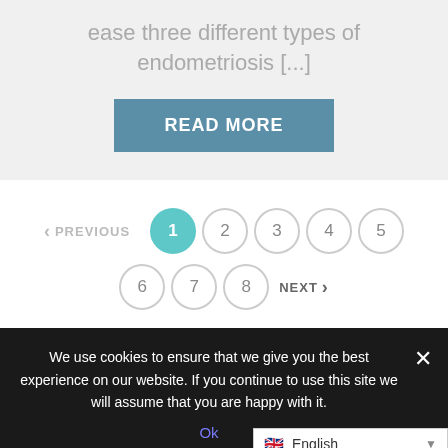ease three different types of endometriosis [...]
READ MORE
< PREVIOUS  1  2  3  4  5  6  7  8  NEXT >
We use cookies to ensure that we give you the best experience on our website. If you continue to use this site we will assume that you are happy with it.
Ok
English